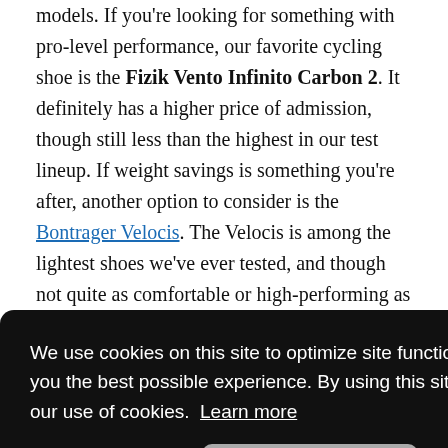models. If you're looking for something with pro-level performance, our favorite cycling shoe is the Fizik Vento Infinito Carbon 2. It definitely has a higher price of admission, though still less than the highest in our test lineup. If weight savings is something you're after, another option to consider is the Bontrager Velocis. The Velocis is among the lightest shoes we've ever tested, and though not quite as comfortable or high-performing as our award-winners, has a reasonable price for what it offers. Newer
We use cookies on this site to optimize site functionality and give you the best possible experience. By using this site, you accept our use of cookies. Learn more
right spots, and a snug, hugging heel cup. The toe box also